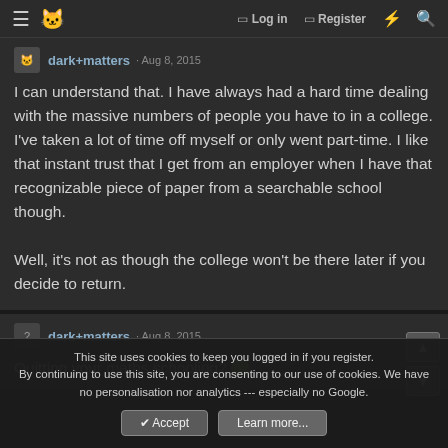Log in  Register
dark+matters · Aug 8, 2015
I can understand that. I have always had a hard time dealing with the massive numbers of people you have to in a college. I've taken a lot of time off myself or only went part-time. I like that instant trust that I get from an employer when I have that recognizable piece of paper from a searchable school though.

Well, it's not as though the college won't be there later if you decide to return.
dark+matters · Aug 8, 2015
Quitting your maths schooling? 🙂
This site uses cookies to keep you logged in if you register.
By continuing to use this site, you are consenting to our use of cookies. We have no personalisation nor analytics --- especially no Google.